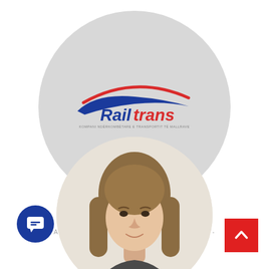[Figure (logo): Railtrans company logo inside a large gray circle. Logo shows a blue and red swoosh/rail shape above the word 'Railtrans' in bold blue and red italic text, with a subtitle tagline below.]
Egzon Bytyqi
AGJENT DOGANORE - NJËSIA E BIZNESIT - AGJENSION DOGANOR
[Figure (photo): Partial circular photo of a young woman with long brown hair, visible from shoulders up, on a light beige background. Only the top portion of the circle is visible at the bottom of the page.]
[Figure (illustration): Dark blue circular chat/message button icon in the bottom-left corner.]
[Figure (illustration): Red square back-to-top arrow button in the bottom-right corner.]